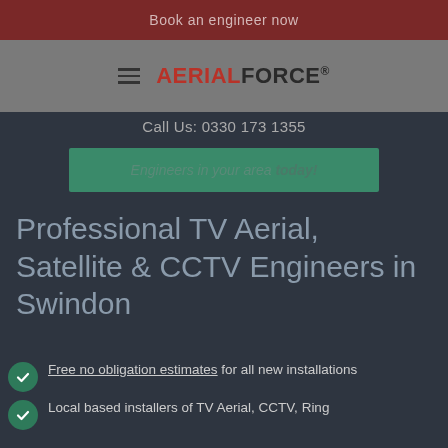Book an engineer now
AERIALFORCE®
Call Us: 0330 173 1355
Engineers in your area today!
Professional TV Aerial, Satellite & CCTV Engineers in Swindon
Free no obligation estimates for all new installations
Local based installers of TV Aerial, CCTV, Ring